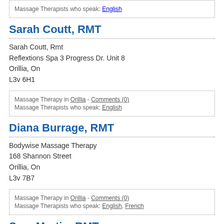Massage Therapists who speak: English
Sarah Coutt, RMT
Sarah Coutt, Rmt
Reflextions Spa 3 Progress Dr. Unit 8
Orillia, On
L3v 6H1
Massage Therapy in Orillia - Comments (0)
Massage Therapists who speak: English
Diana Burrage, RMT
Bodywise Massage Therapy
168 Shannon Street
Orillia, On
L3v 7B7
Massage Therapy in Orillia - Comments (0)
Massage Therapists who speak: English, French
Sara Martin, RMT
Kaso's Karma